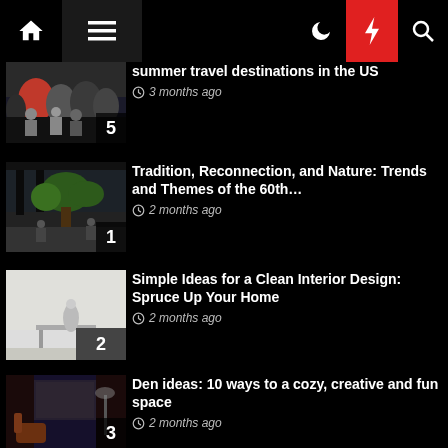Navigation bar with home, menu, moon, lightning, search icons
[Figure (photo): Crowd of people at a travel destination, image #5]
summer travel destinations in the US
3 months ago
[Figure (photo): Indoor venue with greenery and plants, image #1]
Tradition, Reconnection, and Nature: Trends and Themes of the 60th…
2 months ago
[Figure (photo): Clean interior design with console table and decor, image #2]
Simple Ideas for a Clean Interior Design: Spruce Up Your Home
2 months ago
[Figure (photo): Dark moody den room with curtains and armchair, image #3]
Den ideas: 10 ways to a cozy, creative and fun space
2 months ago